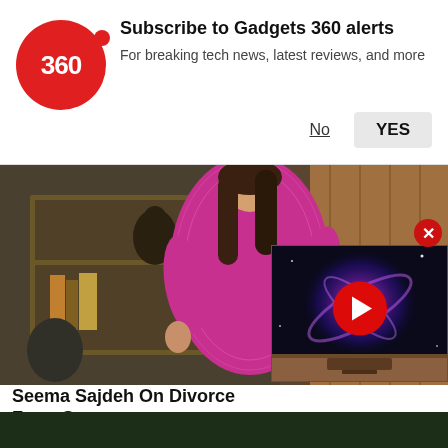[Figure (screenshot): Gadgets 360 subscription notification banner with red circular logo showing '360', title 'Subscribe to Gadgets 360 alerts', subtitle 'For breaking tech news, latest reviews, and more', and No/YES buttons]
[Figure (photo): Woman in pink/magenta sequined outfit standing in a decorated room with wooden panels and shelving]
Seema Sajdeh On Divorce From So Go Of Any Negativity"
"I think I have reached a point where I said Seema Sajdeh
Movies
[Figure (screenshot): Video overlay thumbnail showing a TV with a galaxy/nebula image on screen, with a red play button in the center and a close (X) button at top right]
[Figure (photo): Dark green/nature scene bottom strip partially visible]